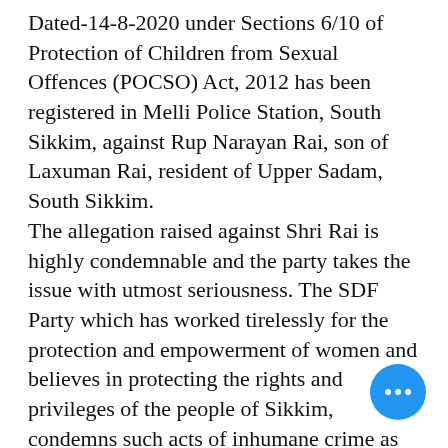Dated-14-8-2020 under Sections 6/10 of Protection of Children from Sexual Offences (POCSO) Act, 2012 has been registered in Melli Police Station, South Sikkim, against Rup Narayan Rai, son of Laxuman Rai, resident of Upper Sadam, South Sikkim. The allegation raised against Shri Rai is highly condemnable and the party takes the issue with utmost seriousness. The SDF Party which has worked tirelessly for the protection and empowerment of women and believes in protecting the rights and privileges of the people of Sikkim, condemns such acts of inhumane crime as alleged or reported. The Party has always maintained and upheld moral eth… and discipline within the Party and